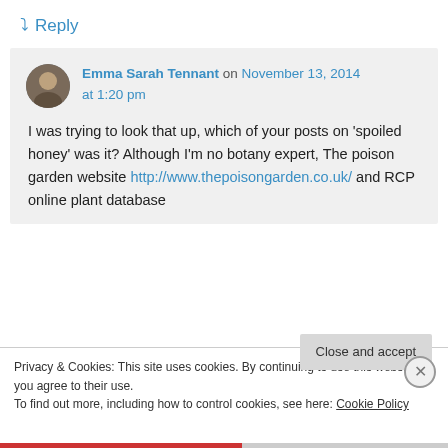↳ Reply
Emma Sarah Tennant on November 13, 2014 at 1:20 pm
I was trying to look that up, which of your posts on 'spoiled honey' was it? Although I'm no botany expert, The poison garden website http://www.thepoisongarden.co.uk/ and RCP online plant database
Privacy & Cookies: This site uses cookies. By continuing to use this website, you agree to their use. To find out more, including how to control cookies, see here: Cookie Policy
Close and accept